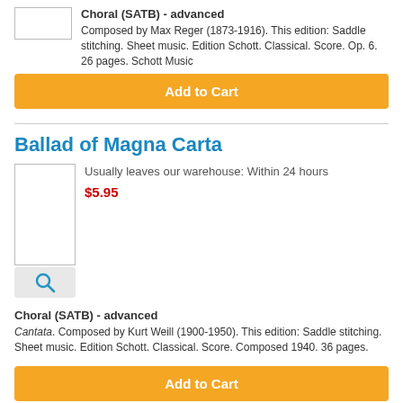[Figure (photo): Small white thumbnail image of sheet music cover]
Choral (SATB) - advanced
Composed by Max Reger (1873-1916). This edition: Saddle stitching. Sheet music. Edition Schott. Classical. Score. Op. 6. 26 pages. Schott Music
Add to Cart
Ballad of Magna Carta
[Figure (photo): White thumbnail image of sheet music cover with magnifying glass search button below]
Usually leaves our warehouse: Within 24 hours
$5.95
Choral (SATB) - advanced
Cantata. Composed by Kurt Weill (1900-1950). This edition: Saddle stitching. Sheet music. Edition Schott. Classical. Score. Composed 1940. 36 pages.
Add to Cart